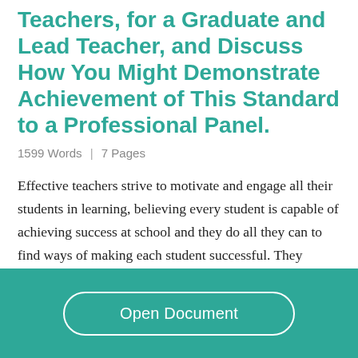Teachers, for a Graduate and Lead Teacher, and Discuss How You Might Demonstrate Achievement of This Standard to a Professional Panel.
1599 Words  | 7 Pages
Effective teachers strive to motivate and engage all their students in learning, believing every student is capable of achieving success at school and they do all they can to find ways of making each student successful. They personalize the learning for their
Open Document